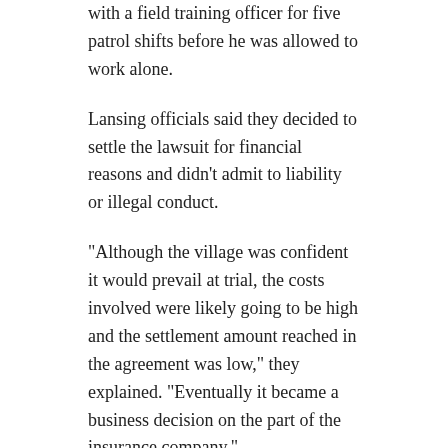with a field training officer for five patrol shifts before he was allowed to work alone.
Lansing officials said they decided to settle the lawsuit for financial reasons and didn't admit to liability or illegal conduct.
“Although the village was confident it would prevail at trial, the costs involved were likely going to be high and the settlement amount reached in the agreement was low,” they explained. “Eventually it became a business decision on the part of the insurance company.”
The Village of Lansing is scheduled to vote on the $70,000 settlement on Tuesday.
“Now that the lawsuit is resolved, the Brunson family can move beyond this unfortunate and tragic incident,” Andrew M. Stroth, the family’s attorney, said.